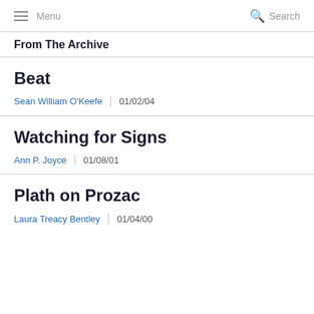Menu | Search
From The Archive
Beat
Sean William O'Keefe | 01/02/04
Watching for Signs
Ann P. Joyce | 01/08/01
Plath on Prozac
Laura Treacy Bentley | 01/04/00